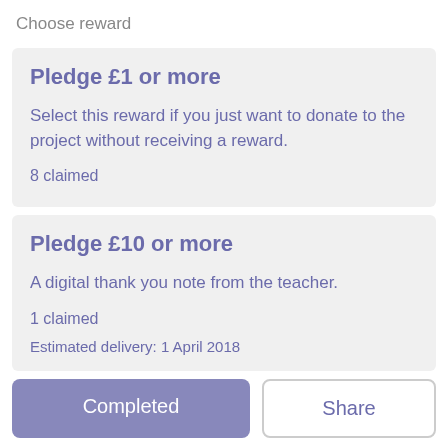Choose reward
Pledge £1 or more
Select this reward if you just want to donate to the project without receiving a reward.
8 claimed
Pledge £10 or more
A digital thank you note from the teacher.
1 claimed
Estimated delivery: 1 April 2018
Completed
Share